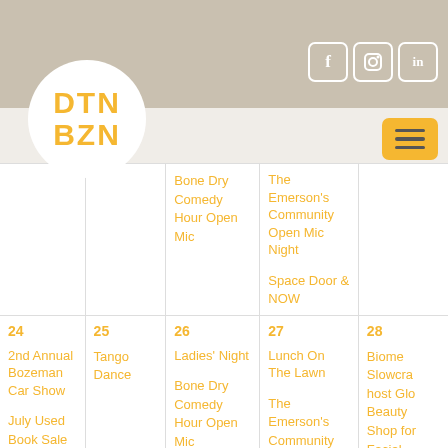DTN BZN - Downtown Bozeman website header with logo and social icons
Bone Dry Comedy Hour Open Mic
The Emerson's Community Open Mic Night
Space Door & NOW
24 - 2nd Annual Bozeman Car Show; July Used Book Sale
25 - Tango Dance
26 - Ladies' Night; Bone Dry Comedy Hour Open Mic
27 - Lunch On The Lawn; The Emerson's Community Open Mic Night
28 - Biome Slowcraft host Glo Beauty Shop for Facial Massage